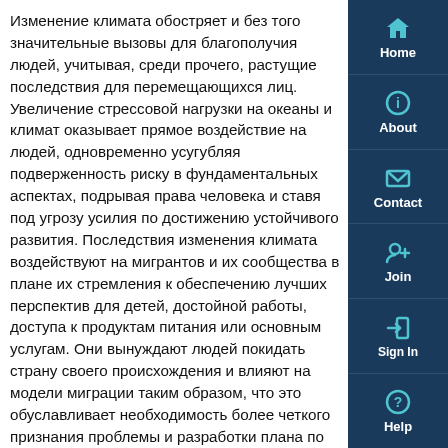Изменение климата обостряет и без того значительные вызовы для благополучия людей, учитывая, среди прочего, растущие последствия для перемещающихся лиц. Увеличение стрессовой нагрузки на океаны и климат оказывает прямое воздействие на людей, одновременно усугубляя подверженность риску в фундаментальных аспектах, подрывая права человека и ставя под угрозу усилия по достижению устойчивого развития. Последствия изменения климата воздействуют на мигрантов и их сообщества в плане их стремления к обеспечению лучших перспектив для детей, достойной работы, доступа к продуктам питания или основным услугам. Они вынуждают людей покидать страну своего происхождения и влияют на модели миграции таким образом, что это обуславливает необходимость более четкого признания проблемы и разработки плана по устранению воздействия изменения климата на мобильность людей1.